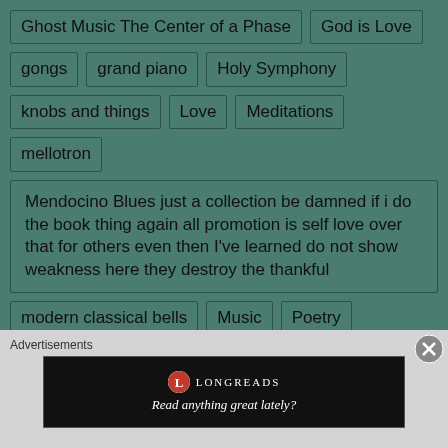Ghost Music The Center of a Phase
God is Love
gongs
grand piano
Holy Symphony
knobs and things
Love
Meditations
mellotron
Mendocino Blues just a collection be damned if i do the book thing again all promotion is self love over that for others even then I've learned do not show weakness here they destroy the thankful
modern classical bells
Music
Poetry
Poetry, Pubished yes and no
Prayers To Peace
Protest Concerto
Pubished yes and no
Advertisements
[Figure (screenshot): Longreads advertisement banner: circular red logo with 'L', text 'LONGREADS', tagline 'Read anything great lately?']